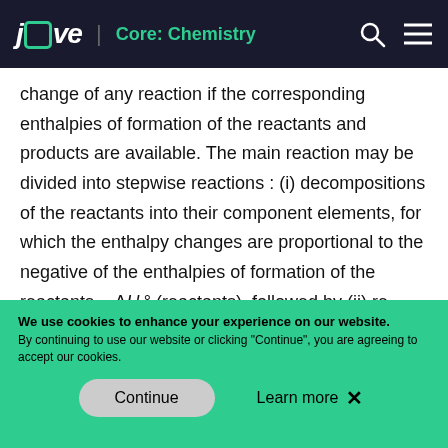jove | Core: Chemistry
change of any reaction if the corresponding enthalpies of formation of the reactants and products are available. The main reaction may be divided into stepwise reactions : (i) decompositions of the reactants into their component elements, for which the enthalpy changes are proportional to the negative of the enthalpies of formation of the reactants, −ΔHf° (reactants), followed by (ii) re-combinations of the elements (obtained in step 1) to give the products, with the enthalpy changes proportional to the enthalpies of formation of the products, ΔHf°
We use cookies to enhance your experience on our website. By continuing to use our website or clicking "Continue", you are agreeing to accept our cookies.